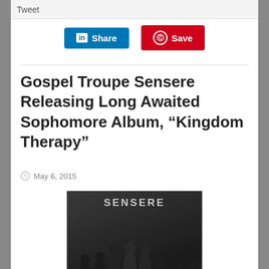Tweet
[Figure (screenshot): LinkedIn Share button (blue) and Pinterest Save button (red)]
Gospel Troupe Sensere Releasing Long Awaited Sophomore Album, “Kingdom Therapy”
May 6, 2015
[Figure (photo): Black and white album cover photo of the gospel group Sensere posing with 'KINGDOM THERAPY' text at the bottom and the Sensere logo letter S on the floor]
Gospel’s premier soul troupe, Sensere, is set to unveil their long awaited new album, KINGDOM THERAPY, available May 12th. Sailing in as the follow-up to their critically acclaimed first